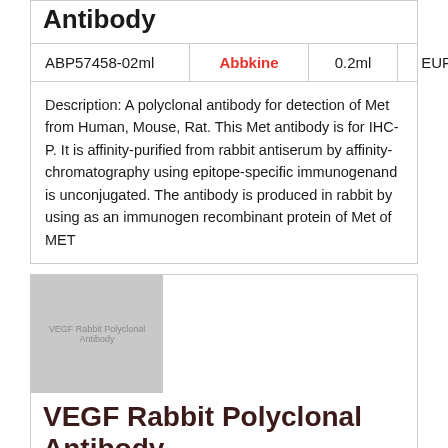Antibody
| SKU | Brand | Volume | Price |
| --- | --- | --- | --- |
| ABP57458-02ml | Abbkine | 0.2ml | EUR 414 |
Description: A polyclonal antibody for detection of Met from Human, Mouse, Rat. This Met antibody is for IHC-P. It is affinity-purified from rabbit antiserum by affinity-chromatography using epitope-specific immunogenand is unconjugated. The antibody is produced in rabbit by using as an immunogen recombinant protein of Met of MET
[Figure (photo): Placeholder image for VEGF Rabbit Polyclonal Antibody product]
VEGF Rabbit Polyclonal Antibody